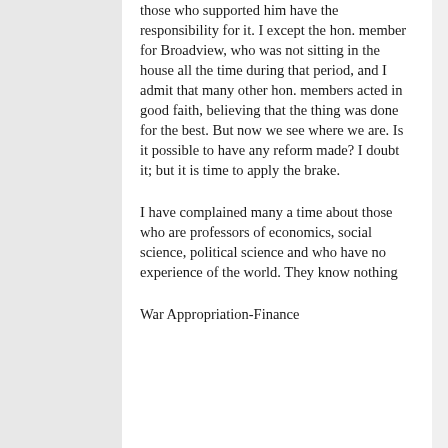those who supported him have the responsibility for it. I except the hon. member for Broadview, who was not sitting in the house all the time during that period, and I admit that many other hon. members acted in good faith, believing that the thing was done for the best. But now we see where we are. Is it possible to have any reform made? I doubt it; but it is time to apply the brake.
I have complained many a time about those who are professors of economics, social science, political science and who have no experience of the world. They know nothing
War Appropriation-Finance